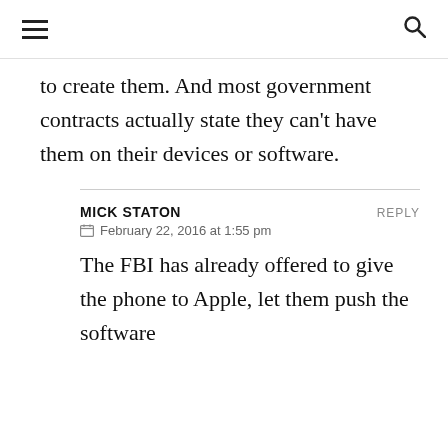≡  🔍
to create them. And most government contracts actually state they can't have them on their devices or software.
MICK STATON  REPLY
February 22, 2016 at 1:55 pm
The FBI has already offered to give the phone to Apple, let them push the software